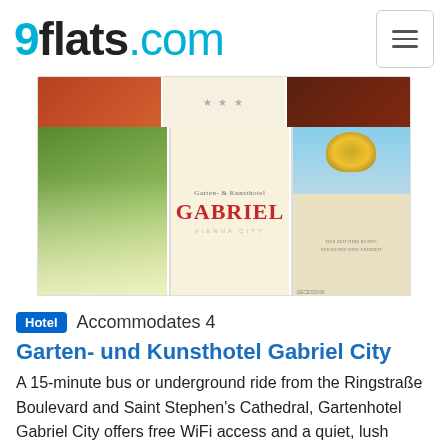9flats.com
[Figure (photo): Collage of hotel photos: outdoor terrace dining with flowers, Garten- & Kunsthotel Gabriel Vienna City logo/sign, and Secession Building with golden dome]
Hotel  Accommodates 4
Garten- und Kunsthotel Gabriel City
A 15-minute bus or underground ride from the Ringstraße Boulevard and Saint Stephen's Cathedral, Gartenhotel Gabriel City offers free WiFi access and a quiet, lush garden. The breakfast room and all of the guest rooms are decorated with imitations of Gustav